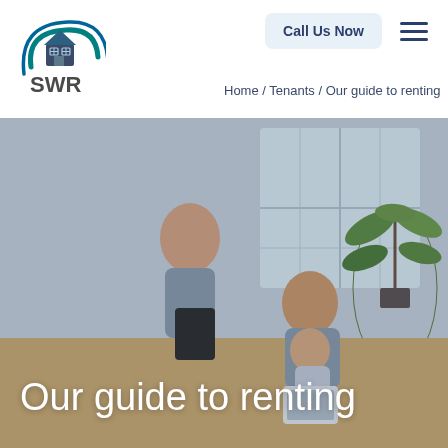[Figure (logo): SWR logo with house icon and teal swoosh arc]
Call Us Now
Home / Tenants / Our guide to renting
[Figure (photo): A family with a woman, man, and child sitting on the floor looking at a tablet, in a bright apartment room with a large window and indoor plant]
Our guide to renting